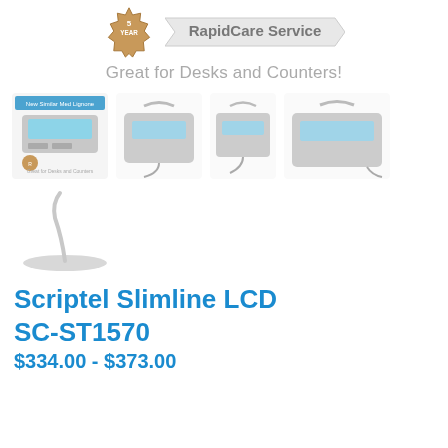[Figure (logo): 5-year badge seal with 'YEAR' text and 'RapidCare Service' banner ribbon]
Great for Desks and Counters!
[Figure (photo): Four product images of the Scriptel Slimline LCD signature pad from different angles/models shown in a row]
[Figure (photo): Single product image of Scriptel Slimline LCD showing a slim white device with gooseneck stand]
Scriptel Slimline LCD SC-ST1570
$334.00 - $373.00